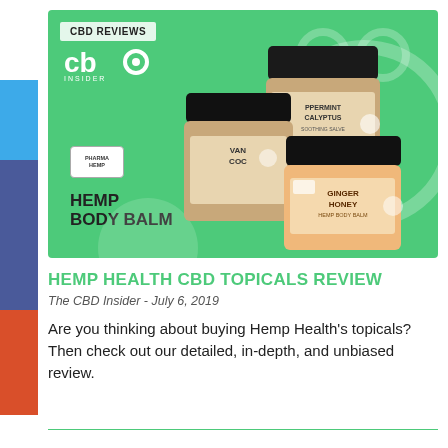[Figure (photo): Hero image with green background showing Hemp Body Balm product jars (Vanilla Coconut, Peppermint Eucalyptus Soothing Salve, Ginger Honey Hemp Body Balm) by Pharma Hemp, with CBD Insider logo and CBD REVIEWS label, plus an owl illustration in background.]
HEMP HEALTH CBD TOPICALS REVIEW
The CBD Insider - July 6, 2019
Are you thinking about buying Hemp Health's topicals? Then check out our detailed, in-depth, and unbiased review.